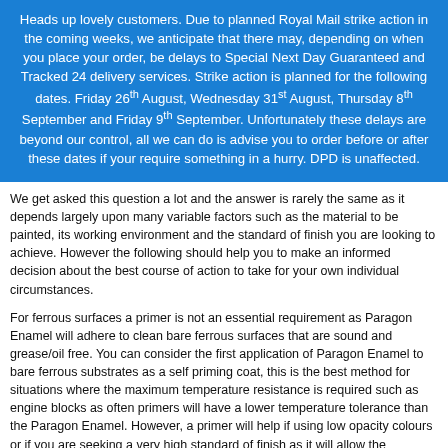Heads up lovely customers. Due to planned Royal Mail strike action in the coming weeks, we anticipate that there may, depending on when you place your order, be delays to Special Next Day Guaranteed and Tracked 24 delivery services. Strike action is planned for the following dates. Friday 26th August, Wednesday 31st August, Thursday 8th September and Friday 9th September. Unfortunately these delays are beyond our control, all we can do is advise you to order before or after these dates if your require something in a hurry. DPD is unaffected.
We get asked this question a lot and the answer is rarely the same as it depends largely upon many variable factors such as the material to be painted, its working environment and the standard of finish you are looking to achieve. However the following should help you to make an informed decision about the best course of action to take for your own individual circumstances.
For ferrous surfaces a primer is not an essential requirement as Paragon Enamel will adhere to clean bare ferrous surfaces that are sound and grease/oil free. You can consider the first application of Paragon Enamel to bare ferrous substrates as a self priming coat, this is the best method for situations where the maximum temperature resistance is required such as engine blocks as often primers will have a lower temperature tolerance than the Paragon Enamel. However, a primer will help if using low opacity colours or if you are seeking a very high standard of finish as it will allow the opportunity to "knock back" the primer with a fine abrasive and to create a clean side for the opportunity to hide surface imperfections